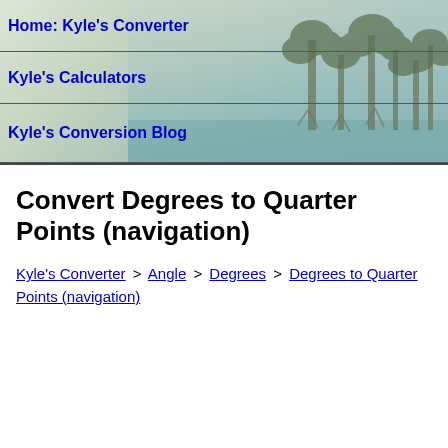Home: Kyle's Converter
Kyle's Calculators
Kyle's Conversion Blog
Convert Degrees to Quarter Points (navigation)
Kyle's Converter > Angle > Degrees > Degrees to Quarter Points (navigation)